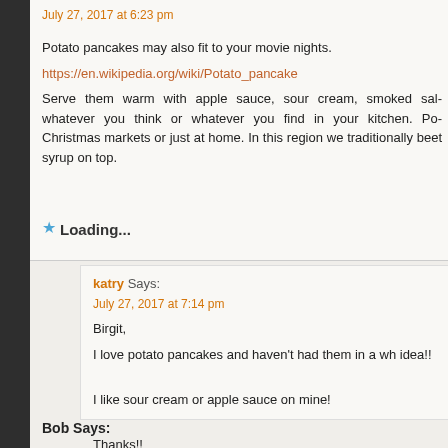July 27, 2017 at 6:23 pm
Potato pancakes may also fit to your movie nights.
https://en.wikipedia.org/wiki/Potato_pancake
Serve them warm with apple sauce, sour cream, smoked sal... whatever you think or whatever you find in your kitchen. Po... Christmas markets or just at home. In this region we traditionally... beet syrup on top.
Loading...
katry Says:
July 27, 2017 at 7:14 pm
Birgit,
I love potato pancakes and haven't had them in a wh... idea!!

I like sour cream or apple sauce on mine!

Thanks!!
Loading...
Bob Says: